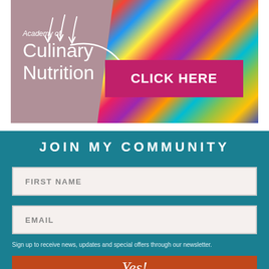[Figure (illustration): Academy of Culinary Nutrition promotional banner with logo text on a muted purple/mauve background on the left, colorful geometric pattern photo on the right, white arrow doodles, and a bright pink/magenta 'CLICK HERE' button in the center-right.]
JOIN MY COMMUNITY
FIRST NAME
EMAIL
Sign up to receive news, updates and special offers through our newsletter.
Yes!